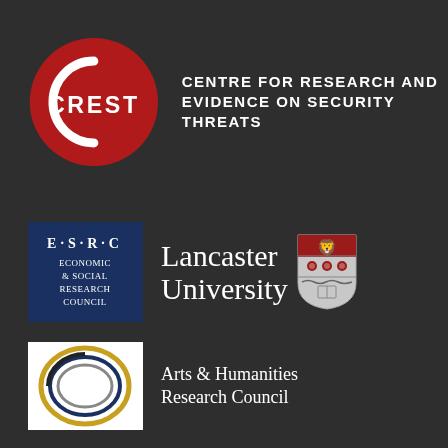[Figure (logo): CREST logo: red circle with white C arc and CREST text, beside white text reading CENTRE FOR RESEARCH AND EVIDENCE ON SECURITY THREATS]
[Figure (logo): ESRC logo: dark blue rectangle with E·S·R·C and ECONOMIC & SOCIAL RESEARCH COUNCIL text]
[Figure (logo): Lancaster University logo: white serif text Lancaster University with red and grey heraldic shield]
[Figure (logo): Arts & Humanities Research Council logo: white rectangle with concentric oval rings in gold, blue, grey, and text Arts & Humanities Research Council]